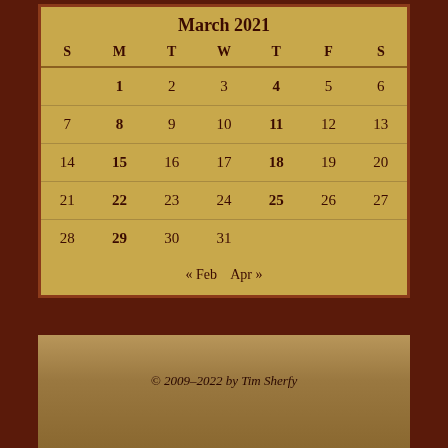March 2021
| S | M | T | W | T | F | S |
| --- | --- | --- | --- | --- | --- | --- |
|  | 1 | 2 | 3 | 4 | 5 | 6 |
| 7 | 8 | 9 | 10 | 11 | 12 | 13 |
| 14 | 15 | 16 | 17 | 18 | 19 | 20 |
| 21 | 22 | 23 | 24 | 25 | 26 | 27 |
| 28 | 29 | 30 | 31 |  |  |  |
« Feb    Apr »
© 2009–2022 by Tim Sherfy